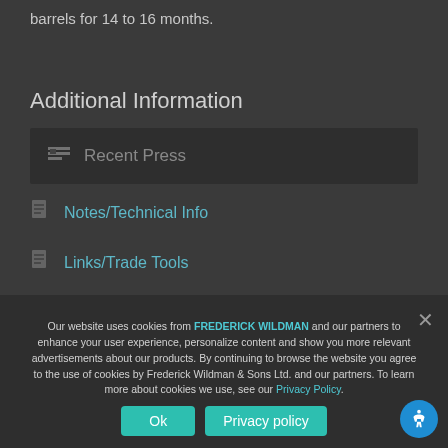barrels for 14 to 16 months.
Additional Information
Recent Press
Notes/Technical Info
Links/Trade Tools
Our website uses cookies from FREDERICK WILDMAN and our partners to enhance your user experience, personalize content and show you more relevant advertisements about our products. By continuing to browse the website you agree to the use of cookies by Frederick Wildman & Sons Ltd. and our partners. To learn more about cookies we use, see our Privacy Policy.